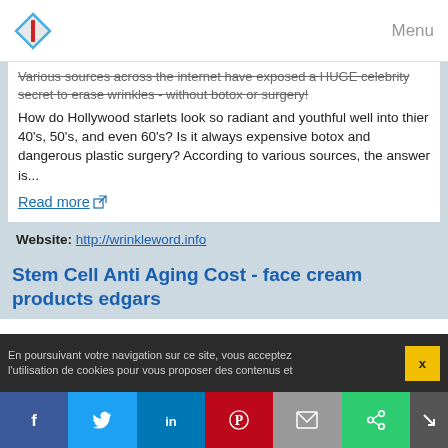Menu
Various sources across the internet have exposed a HUGE celebrity secret to erase wrinkles - without botox or surgery!
How do Hollywood starlets look so radiant and youthful well into thier 40's, 50's, and even 60's? Is it always expensive botox and dangerous plastic surgery? According to various sources, the answer is...
Read more
Website: http://wrinkleword.info
Related topics : hyaluronic acid anti aging cream / anti aging wrinkle cream ingredients / best anti aging eye cream products / anti aging skin cream ingredients / anti aging wrinkle cream that really works
Stem Cell Anti Aging Cost - face cream products edgars
En poursuivant votre navigation sur ce site, vous acceptez l'utilisation de cookies pour vous proposer des contenus et